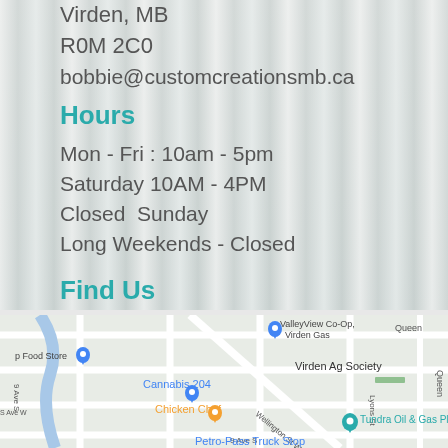Virden, MB
R0M 2C0
bobbie@customcreationsmb.ca
Hours
Mon - Fri : 10am - 5pm
Saturday 10AM - 4PM
Closed  Sunday
Long Weekends - Closed
Find Us
[Figure (map): Google Maps street map showing Virden, MB area with landmarks: ValleyView Co-Op Virden Gas, p Food Store, Cannabis 204, Chicken Chef, Tundra Oil & Gas Place, Virden Ag Society, Petro-Pass Truck Stop. Streets include Queen, Lyons St, Wellington St W, 9 Ave S.]